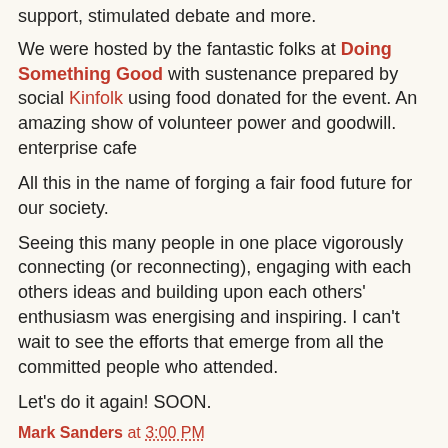support, stimulated debate and more.
We were hosted by the fantastic folks at Doing Something Good with sustenance prepared by social Kinfolk using food donated for the event. An amazing show of volunteer power and goodwill.
enterprise cafe
All this in the name of forging a fair food future for our society.
Seeing this many people in one place vigorously connecting (or reconnecting), engaging with each others ideas and building upon each others' enthusiasm was energising and inspiring. I can't wait to see the efforts that emerge from all the committed people who attended.
Let's do it again! SOON.
Mark Sanders at 3:00 PM
Share